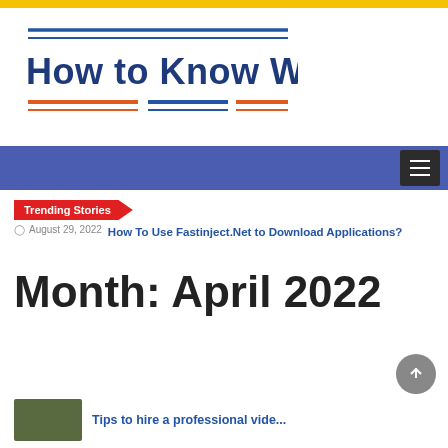How to Know Web
[Figure (logo): How to Know Web logo with blue and orange decorative lines above and below the site name]
Trending Stories
August 29, 2022  How To Use Fastinject.Net to Download Applications?
Month: April 2022
Tips to hire a professional video...